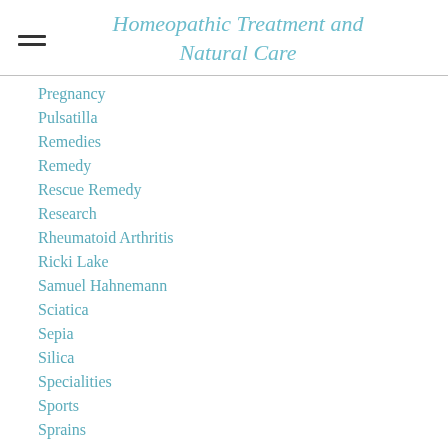Homeopathic Treatment and Natural Care
Pregnancy
Pulsatilla
Remedies
Remedy
Rescue Remedy
Research
Rheumatoid Arthritis
Ricki Lake
Samuel Hahnemann
Sciatica
Sepia
Silica
Specialities
Sports
Sprains
Strains
Stress